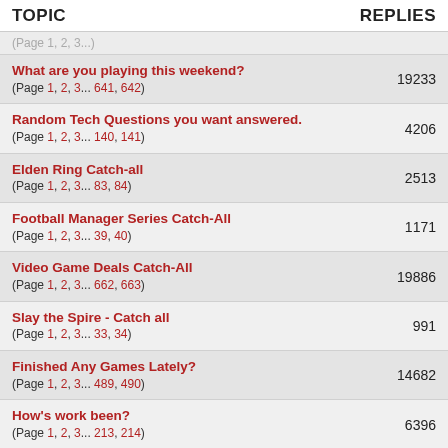TOPIC | REPLIES
What are you playing this weekend? (Page 1, 2, 3... 641, 642) | 19233
Random Tech Questions you want answered. (Page 1, 2, 3... 140, 141) | 4206
Elden Ring Catch-all (Page 1, 2, 3... 83, 84) | 2513
Football Manager Series Catch-All (Page 1, 2, 3... 39, 40) | 1171
Video Game Deals Catch-All (Page 1, 2, 3... 662, 663) | 19886
Slay the Spire - Catch all (Page 1, 2, 3... 33, 34) | 991
Finished Any Games Lately? (Page 1, 2, 3... 489, 490) | 14682
How's work been? (Page 1, 2, 3... 213, 214) | 6396
Dark Souls Catch-All (Page 1, 2, 3... 469, 470) | 14093